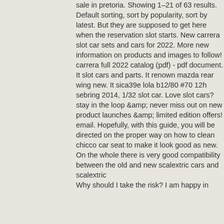sale in pretoria. Showing 1–21 of 63 results. Default sorting, sort by popularity, sort by latest. But they are supposed to get here when the reservation slot starts. New carrera slot car sets and cars for 2022. More new information on products and images to follow! carrera full 2022 catalog (pdf) - pdf document. It slot cars and parts. It renown mazda rear wing new. It sica39e lola b12/80 #70 12h sebring 2014, 1/32 slot car. Love slot cars? stay in the loop &amp; never miss out on new product launches &amp; limited edition offers! email. Hopefully, with this guide, you will be directed on the proper way on how to clean chicco car seat to make it look good as new. On the whole there is very good compatibility between the old and new scalextric cars and scalextric
Why should I take the risk? I am happy in